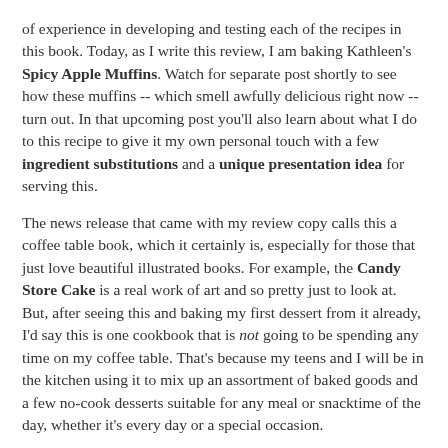of experience in developing and testing each of the recipes in this book. Today, as I write this review, I am baking Kathleen's Spicy Apple Muffins. Watch for separate post shortly to see how these muffins -- which smell awfully delicious right now -- turn out. In that upcoming post you'll also learn about what I do to this recipe to give it my own personal touch with a few ingredient substitutions and a unique presentation idea for serving this.
The news release that came with my review copy calls this a coffee table book, which it certainly is, especially for those that just love beautiful illustrated books. For example, the Candy Store Cake is a real work of art and so pretty just to look at. But, after seeing this and baking my first dessert from it already, I'd say this is one cookbook that is not going to be spending any time on my coffee table. That's because my teens and I will be in the kitchen using it to mix up an assortment of baked goods and a few no-cook desserts suitable for any meal or snacktime of the day, whether it's every day or a special occasion.
Entenmann's Big Book Of Baking is published by Parragon Books. Available online and in-store as a hardbound coffee table book, $16.99. Also may be purchased online as an ebook for $6.99 and an app for $4.99.